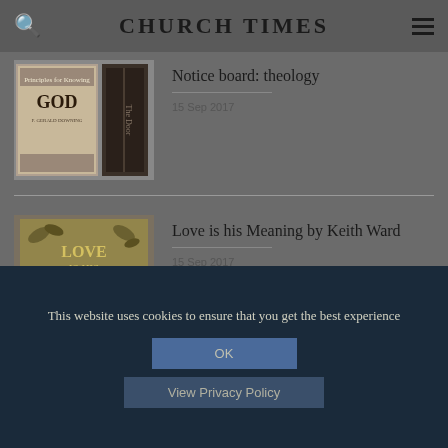CHURCH TIMES
Notice board: theology
15 Sep 2017
[Figure (illustration): Book covers thumbnail for theology notice board]
Love is his Meaning by Keith Ward
15 Sep 2017
[Figure (illustration): Book cover: LOVE IS HIS MEANING by Keith Ward]
This website uses cookies to ensure that you get the best experience
OK
View Privacy Policy